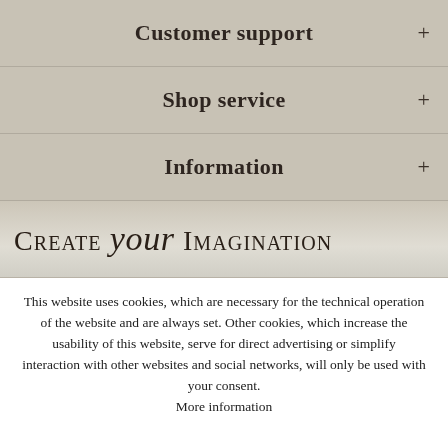Customer support +
Shop service +
Information +
[Figure (logo): CREATE your IMAGINATION logo in decorative serif/italic font]
This website uses cookies, which are necessary for the technical operation of the website and are always set. Other cookies, which increase the usability of this website, serve for direct advertising or simplify interaction with other websites and social networks, will only be used with your consent.
More information
Decline
Configure
Accept all